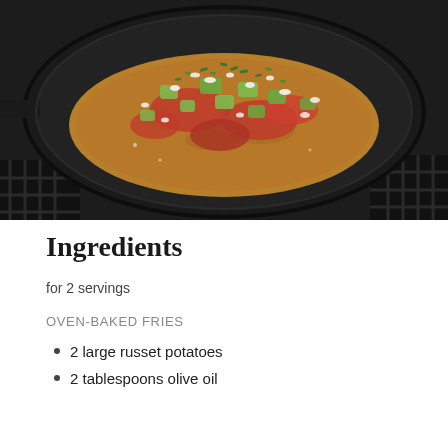[Figure (photo): A cast iron skillet on a stove containing a flatbread or potato dish topped with red salsa, diced avocado, crumbled white cheese (feta), and fresh herbs/cilantro.]
Ingredients
for 2 servings
OVEN-BAKED FRIES
2 large russet potatoes
2 tablespoons olive oil